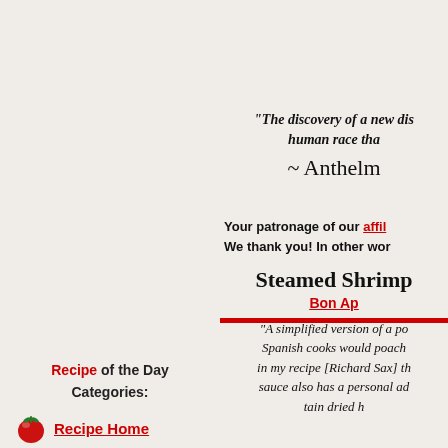"The discovery of a new dis... human race tha... ~ Anthelm...
Recipe of the Day Categories:
Recipe Home
Recipe Index
Appetizers
Beef
Beverage
Bread
Breakfast
Your patronage of our affil... We thank you! In other wor...
Steamed Shrimp
Bon Ap...
"A simplified version of a po... Spanish cooks would poach... in my recipe [Richard Sax] th... sauce also has a personal ad... tain dried h...